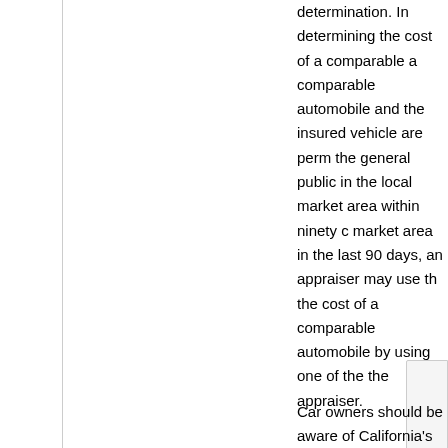determination. In determining the cost of a comparable a comparable automobile and the insured vehicle are perm the general public in the local market area within ninety c market area in the last 90 days, an appraiser may use th the cost of a comparable automobile by using one of the the appraiser.
Car owners should be aware of California's protections a entitled by reference to written or printed advertising mat